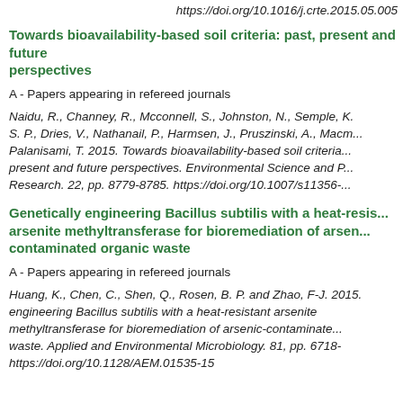https://doi.org/10.1016/j.crte.2015.05.005
Towards bioavailability-based soil criteria: past, present and future perspectives
A - Papers appearing in refereed journals
Naidu, R., Channey, R., Mcconnell, S., Johnston, N., Semple, K. T., Bolan, N., Mallavarapu, M., Lamb, D., Vig, K., Kookana, R., Kirkham, M. B., McLaren, R. G., Oliver, D. P., Dries, V., Nathanail, P., Harmsen, J., Pruszinski, A., Macmillan, S., Cameron, K., Owens, G. and Palanisami, T. 2015. Towards bioavailability-based soil criteria: past, present and future perspectives. Environmental Science and Pollution Research. 22, pp. 8779-8785. https://doi.org/10.1007/s11356-014-3387-x
Genetically engineering Bacillus subtilis with a heat-resistant arsenite methyltransferase for bioremediation of arsenic-contaminated organic waste
A - Papers appearing in refereed journals
Huang, K., Chen, C., Shen, Q., Rosen, B. P. and Zhao, F-J. 2015. Genetically engineering Bacillus subtilis with a heat-resistant arsenite methyltransferase for bioremediation of arsenic-contaminated organic waste. Applied and Environmental Microbiology. 81, pp. 6718-6727. https://doi.org/10.1128/AEM.01535-15